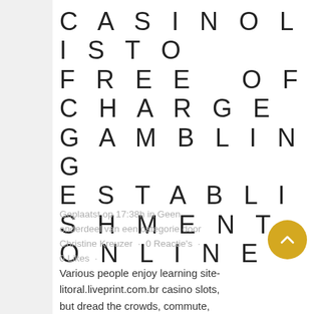CASINOLISTO FREE OF CHARGE GAMBLING ESTABLISHMENT ONLINE
Geplaatst op 17:38h in Geen onderdeel van een categorie door Christine Kreuzer · 0 Reactie's · 0 Likes ·
Various people enjoy learning site-litoral.liveprint.com.br casino slots, but dread the crowds, commute,